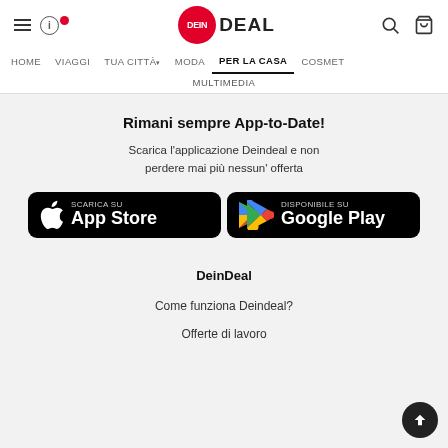DeinDeal — HOME VIAGGI TUA CITTÀ MODA PER LA CASA COSMET — MULTIMEDIA
Rimani sempre App-to-Date!
Scarica l'applicazione Deindeal e non perdere mai più nessun' offerta
[Figure (screenshot): App Store button: Scarica su App Store]
[Figure (screenshot): Google Play button: DISPONIBILE SU Google Play]
DeinDeal
Come funziona Deindeal?
Offerte di lavoro